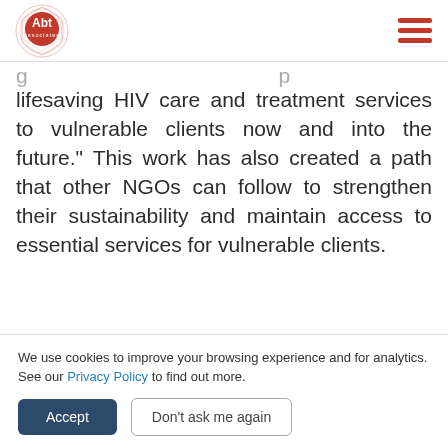Abt Associates logo and navigation
lifesaving HIV care and treatment services to vulnerable clients now and into the future.” This work has also created a path that other NGOs can follow to strengthen their sustainability and maintain access to essential services for vulnerable clients.
To learn more about the support SHOPS Plus provided to these NGOs in their transition to a
We use cookies to improve your browsing experience and for analytics. See our Privacy Policy to find out more.
Accept
Don’t ask me again